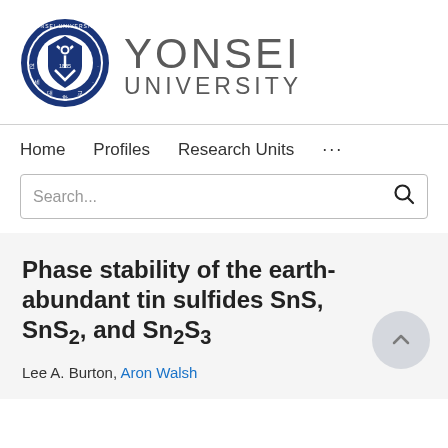[Figure (logo): Yonsei University logo with blue circular seal and gray YONSEI UNIVERSITY text]
Home   Profiles   Research Units   ...
Search...
Phase stability of the earth-abundant tin sulfides SnS, SnS2, and Sn2S3
Lee A. Burton, Aron Walsh